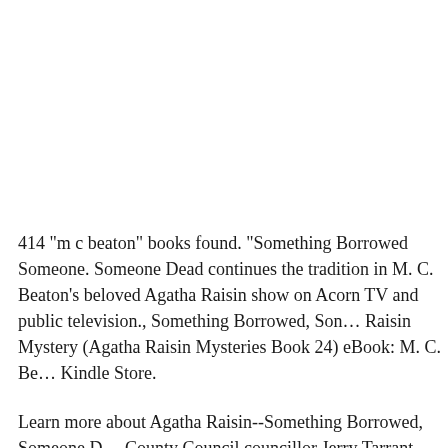414 "m c beaton" books found. "Something Borrowed Someone. Someone Dead continues the tradition in M. C. Beaton's beloved Agatha Raisin show on Acorn TV and public television., Something Borrowed, Someone Dead: An Agatha Raisin Mystery (Agatha Raisin Mysteries Book 24) eBook: M. C. Beaton: Kindle Store.
Learn more about Agatha Raisin--Something Borrowed, Someone Dead. County Council councillor Jerry Tarrant hires Agatha Raisin to track ... continues the tradition in M. C. Beaton's beloved Agatha Raisin mystery Somet...